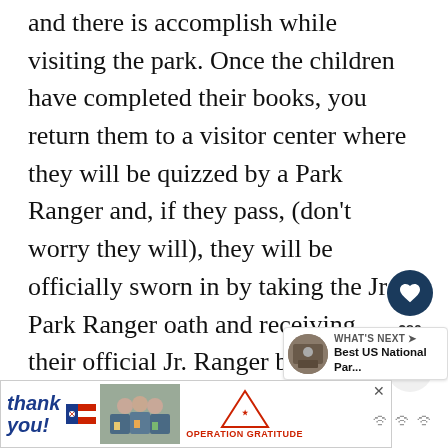and there is accomplish while visiting the park. Once the children have completed their books, you return them to a visitor center where they will be quizzed by a Park Ranger and, if they pass, (don't worry they will), they will be officially sworn in by taking the Jr. Park Ranger oath and receiving their official Jr. Ranger badge. As you can imagine that this creates a great deal of excitement for the children, and it is a great way to get them more involved in our the parks and learning about nature.
[Figure (other): UI sidebar with heart/like button showing 280 likes and a share button]
[Figure (other): What's Next widget showing thumbnail and text: Best US National Par...]
[Figure (other): Advertisement banner for Operation Gratitude with thank you text, flag graphic, photo of people, and Operation Gratitude logo]